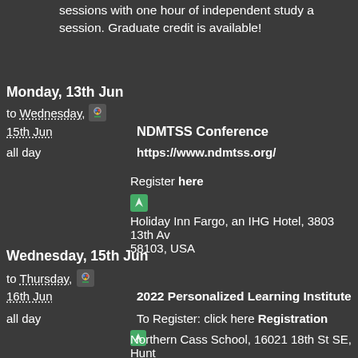sessions with one hour of independent study a session. Graduate credit is available!
Monday, 13th Jun
to Wednesday,
15th Jun   NDMTSS Conference
all day   https://www.ndmtss.org/
Register here
Holiday Inn Fargo, an IHG Hotel, 3803 13th Av 58103, USA
Wednesday, 15th Jun
to Thursday,
16th Jun   2022 Personalized Learning Institute
all day   To Register:  click here Registration
Northern Cass School, 16021 18th St SE, Hunt USA